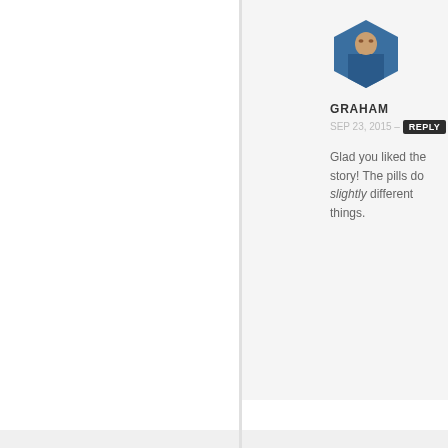[Figure (photo): Hexagon avatar photo of Graham - man in blue jacket]
GRAHAM
SEP 23, 2015 - REPLY
Glad you liked the story! The pills do slightly different things.
[Figure (illustration): Default circular grey avatar silhouette for Andrew]
ANDREW
SEP 15, 2015 - REPLY
Just curious if you know why it is not available on the LG G4 from the google play store?
[Figure (photo): Partial hexagon avatar photo at bottom - man in blue jacket]